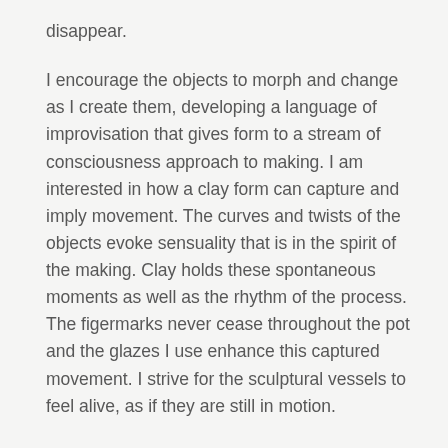disappear.
I encourage the objects to morph and change as I create them, developing a language of improvisation that gives form to a stream of consciousness approach to making. I am interested in how a clay form can capture and imply movement. The curves and twists of the objects evoke sensuality that is in the spirit of the making. Clay holds these spontaneous moments as well as the rhythm of the process. The figermarks never cease throughout the pot and the glazes I use enhance this captured movement. I strive for the sculptural vessels to feel alive, as if they are still in motion.
Gestation and rhythm are some of the traits a ceramic thing can hold. Repeated gestures on the surface of a pot or touch carried on throughout a vessel can make a still object retain life. The breath of the vessel is so wonderful in part because it